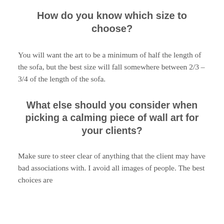How do you know which size to choose?
You will want the art to be a minimum of half the length of the sofa, but the best size will fall somewhere between 2/3 – 3/4 of the length of the sofa.
What else should you consider when picking a calming piece of wall art for your clients?
Make sure to steer clear of anything that the client may have bad associations with. I avoid all images of people. The best choices are